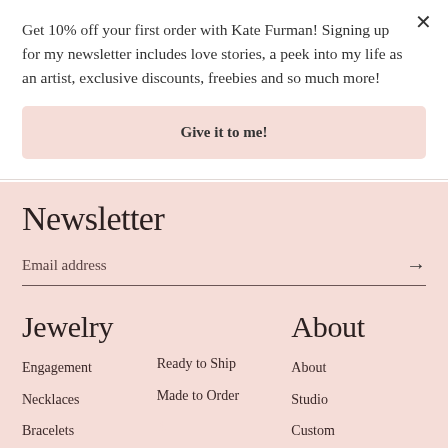Get 10% off your first order with Kate Furman! Signing up for my newsletter includes love stories, a peek into my life as an artist, exclusive discounts, freebies and so much more!
Give it to me!
Newsletter
Email address
Jewelry
About
Engagement
Ready to Ship
About
Necklaces
Made to Order
Studio
Bracelets
Custom